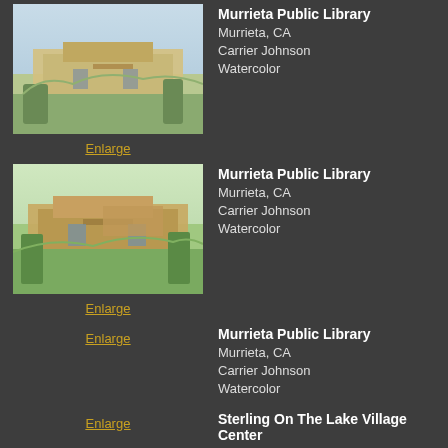[Figure (illustration): Aerial watercolor rendering of Murrieta Public Library building]
Enlarge
Murrieta Public Library
Murrieta, CA
Carrier Johnson
Watercolor
[Figure (illustration): Aerial watercolor rendering of Murrieta Public Library from different angle]
Enlarge
Murrieta Public Library
Murrieta, CA
Carrier Johnson
Watercolor
Enlarge
Murrieta Public Library
Murrieta, CA
Carrier Johnson
Watercolor
Enlarge
Sterling On The Lake Village Center
Flowery Branch, GA
Watercolor
Enlarge
Mercy Gilbert Medical Center
Gilbert, AZ
Moon-Mayoras Architects
Watercolor